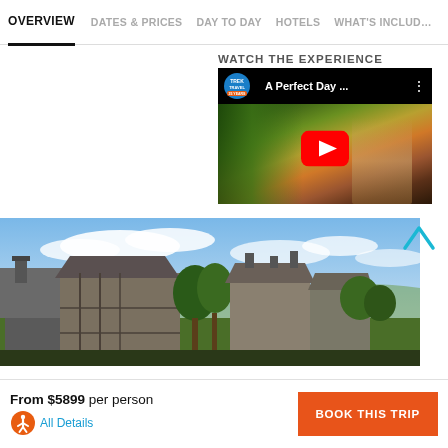OVERVIEW  DATES & PRICES  DAY TO DAY  HOTELS  WHAT'S INCLUD...
WATCH THE EXPERIENCE
[Figure (screenshot): YouTube video thumbnail showing Trek Travel 'A Perfect Day...' video with play button overlay, outdoor scenic background]
[Figure (photo): Landscape photo of French countryside village with stone and timber-framed buildings under partly cloudy sky]
From $5899 per person
All Details
BOOK THIS TRIP